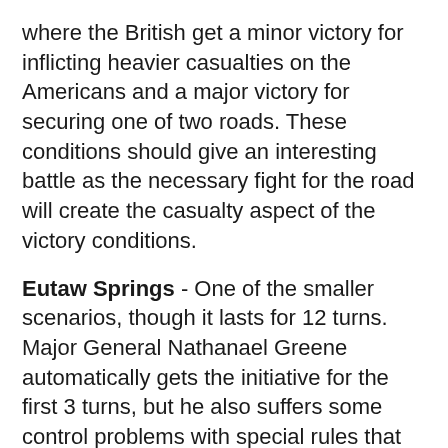where the British get a minor victory for inflicting heavier casualties on the Americans and a major victory for securing one of two roads. These conditions should give an interesting battle as the necessary fight for the road will create the casualty aspect of the victory conditions.
Eutaw Springs - One of the smaller scenarios, though it lasts for 12 turns. Major General Nathanael Greene automatically gets the initiative for the first 3 turns, but he also suffers some control problems with special rules that cover looting of the British camp.
Conclusion.
So there we are, a really nice product from LWTV, well presented and an all in one, self contained package. Everything in there is meaningful i.e. no 'filler' pages and 50% of proceedings go to American Battlefield Trust, which is a not for profit organisation.